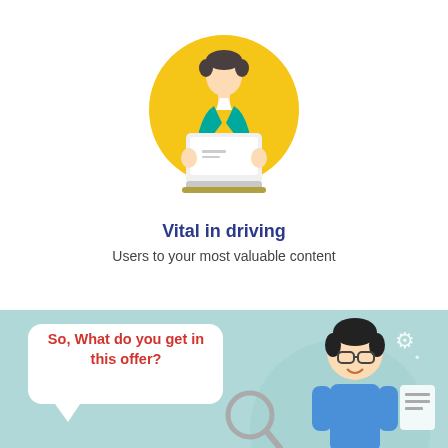[Figure (illustration): Flat-style illustration of a person in a teal jacket sitting behind a white laptop, set against a yellow/golden circle background.]
Vital in driving
Users to your most valuable content
[Figure (illustration): Light teal banner section showing a white speech bubble with red bold text 'So, What do you get in this offer?', a magnifying glass icon, and a cartoon figure of a smiling man with glasses and dark hair, plus gear icons.]